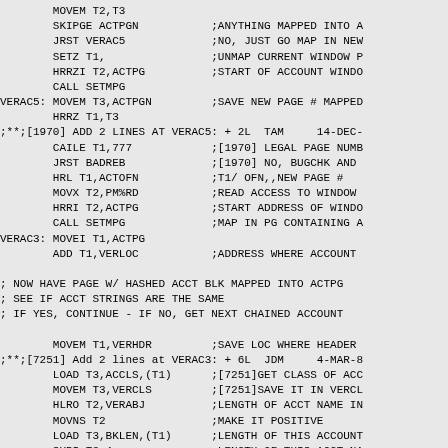MOVEM T2,T3
        SKIPGE ACTPGN           ;ANYTHING MAPPED INTO A
        JRST VERAC5             ;NO, JUST GO MAP IN NEW
        SETZ T1,                ;UNMAP CURRENT WINDOW P
        HRRZI T2,ACTPG          ;START OF ACCOUNT WINDO
        CALL SETMPG
VERAC5: MOVEM T3,ACTPGN         ;SAVE NEW PAGE # MAPPED
        HRRZ T1,T3
;**;[1970] ADD 2 LINES AT VERAC5: + 2L  TAM     14-DEC-
        CAILE T1,777            ;[1970] LEGAL PAGE NUMB
        JRST BADREB             ;[1970] NO, BUGCHK AND
        HRL T1,ACTOFN           ;T1/ OFN,,NEW PAGE #
        MOVX T2,PM%RD           ;READ ACCESS TO WINDOW
        HRRI T2,ACTPG           ;START ADDRESS OF WINDO
        CALL SETMPG             ;MAP IN PG CONTAINING A
VERAC3: MOVEI T1,ACTPG
        ADD T1,VERLOC           ;ADDRESS WHERE ACCOUNT

; NOW HAVE PAGE W/ HASHED ACCT BLK MAPPED INTO ACTPG
; SEE IF ACCT STRINGS ARE THE SAME
; IF YES, CONTINUE - IF NO, GET NEXT CHAINED ACCOUNT

        MOVEM T1,VERHDR         ;SAVE LOC WHERE HEADER
;**;[7251] Add 2 lines at VERAC3: + 6L  JDM     4-MAR-8
        LOAD T3,ACCLS,(T1)      ;[7251]GET CLASS OF ACC
        MOVEM T3,VERCLS         ;[7251]SAVE IT IN VERCL
        HLRO T2,VERABJ          ;LENGTH OF ACCT NAME IN
        MOVNS T2                ;MAKE IT POSITIVE
        LOAD T3,BKLEN,(T1)      ;LENGTH OF THIS ACCOUNT
        SUBI T3,4               ;LENGTH OF THIS ACCT NA